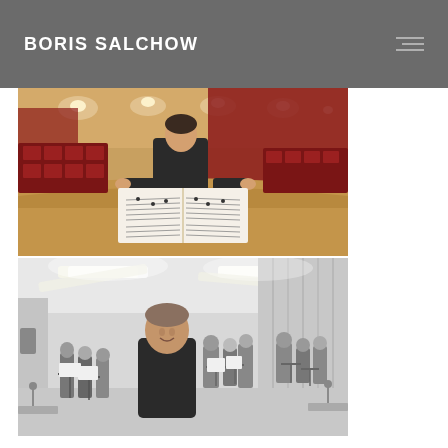BORIS SALCHOW
[Figure (photo): Man in dark shirt reviewing large sheet music / score in an ornate concert hall with red velvet seats and warm lighting]
[Figure (photo): Black and white photo of a man smiling in front of an orchestra rehearsal in a large bright room with fluorescent lighting]